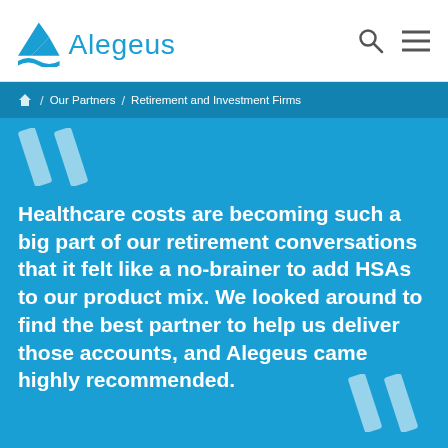Alegeus
Home / Our Partners / Retirement and Investment Firms
Healthcare costs are becoming such a big part of our retirement conversations that it felt like a no-brainer to add HSAs to our product mix. We looked around to find the best partner to help us deliver those accounts, and Alegeus came highly recommended.